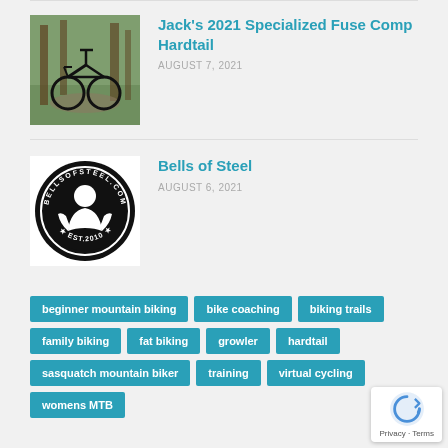[Figure (photo): Mountain bike leaning against trees in forest]
Jack's 2021 Specialized Fuse Comp Hardtail
AUGUST 7, 2021
[Figure (logo): Bells of Steel circular logo with strongman silhouette, bellsofsteel.com, EST.2010]
Bells of Steel
AUGUST 6, 2021
beginner mountain biking
bike coaching
biking trails
family biking
fat biking
growler
hardtail
sasquatch mountain biker
training
virtual cycling
womens MTB